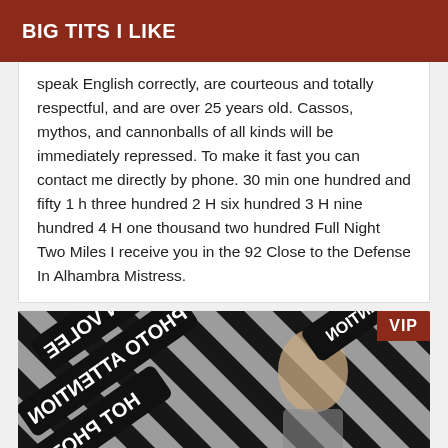BIG TITS I LIKE
speak English correctly, are courteous and totally respectful, and are over 25 years old. Cassos, mythos, and cannonballs of all kinds will be immediately repressed. To make it fast you can contact me directly by phone. 30 min one hundred and fifty 1 h three hundred 2 H six hundred 3 H nine hundred 4 H one thousand two hundred Full Night Two Miles I receive you in the 92 Close to the Defense In Alhambra Mistress.
[Figure (photo): Photo with black and white diagonal stripes background, a person reflected in a mirror holding a phone, with overlaid bold black signs with mirrored/reversed text reading 'ATTENTION VOLEE' and 'PHOTO ATTENTION', and a VIP badge in the top right corner.]